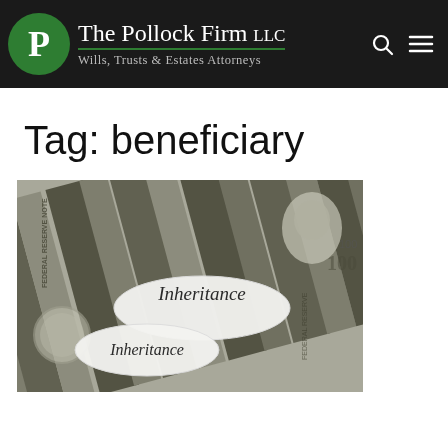The Pollock Firm LLC — Wills, Trusts & Estates Attorneys
Tag: beneficiary
[Figure (photo): Photo of US dollar bills fanned out with a paper label reading 'Inheritance' placed on top]